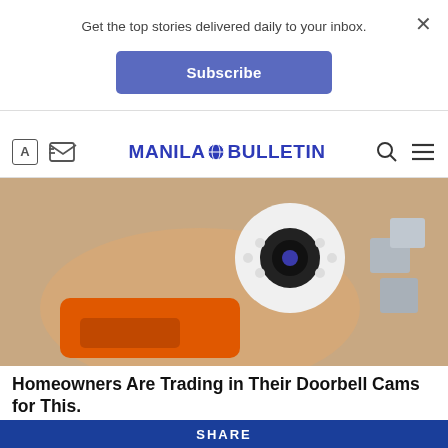Get the top stories delivered daily to your inbox.
Subscribe
[Figure (screenshot): Manila Bulletin website navigation bar with logo, icons for font size and email subscription, search icon, and hamburger menu]
[Figure (photo): A hand holding a small white security camera with LED lights, with orange drill tool visible below]
Homeowners Are Trading in Their Doorbell Cams for This.
Keillini | Sponsored
[Figure (photo): Partial photo of a person with dark hair against a gray background]
SHARE